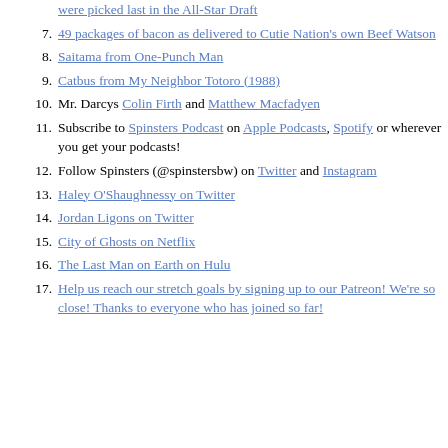were picked last in the All-Star Draft (partial, link)
7. 49 packages of bacon as delivered to Cutie Nation's own Beef Watson
8. Saitama from One-Punch Man
9. Catbus from My Neighbor Totoro (1988)
10. Mr. Darcys Colin Firth and Matthew Macfadyen
11. Subscribe to Spinsters Podcast on Apple Podcasts, Spotify or wherever you get your podcasts!
12. Follow Spinsters (@spinstersbw) on Twitter and Instagram
13. Haley O'Shaughnessy on Twitter
14. Jordan Ligons on Twitter
15. City of Ghosts on Netflix
16. The Last Man on Earth on Hulu
17. Help us reach our stretch goals by signing up to our Patreon! We're so close! Thanks to everyone who has joined so far!